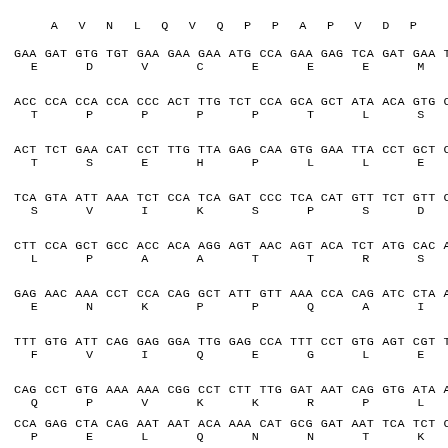A V N L Q V Q P P A P V D P
GAA GAT GTG TGT GAA GAA GAA ATG CCA GAA GAG TCA GAT GAA T
E   D   V   C   E   E   E   M   P   E   E   S   D   E
ACC CCA CCA CCA CCC ACT TTG TCT CCA GCA GCT ATA ACA GTG C
T   P   P   P   P   T   L   S   P   A   A   I   T   V
ACT TCT GAA CAT CCT TTG TTA GAG CAA GTG GAA TTA CCT GCT C
T   S   E   H   P   L   L   E   Q   V   E   L   P   A
TCA GTA ATT AAA TCT CCA TCA GAT CCC TCA CAT GTT TCT GTT C
S   V   I   K   S   P   S   D   P   S   H   V   S   V
CTT CCA GCT GCC ACC ACA AGG AGT AAC AGT ACA TCT ATG CAC A
L   P   A   A   T   T   R   S   N   S   T   S   M   H
GAG AAC AAA CCT CCA CAG GCT ATT GTT AAA CCA CAG ATC CTA A
E   N   K   P   P   Q   A   I   V   K   P   Q   I   L
TTT GTG ATT CAG GAG GGA TTG GAG CCA TTT CCT GTG AGT CGT T
F   V   I   Q   E   G   L   E   P   F   P   V   S   R
CAG CCT GTG AAA AAA CGG CCT CTT TTG GAT AAT CAG GTG ATA A
Q   P   V   K   K   R   P   L   L   D   N   Q   V   I
CCA GAG CTA CAG AAT AAT ACA AAA CAT GCG GAT AAT TCA TCT C
P   E   L   Q   N   N   T   K   H   A   D   N   S   S
ATG ATT GCT GAA GAG ACA TTA GAA GAA ATG GAC AGT GAG TTG C